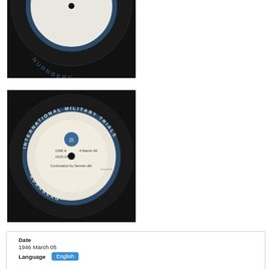[Figure (photo): Top portion of a black vinyl record disc with 'NURNBERG' text visible on the white label ring, International Military Trials disc, partially cropped at top]
[Figure (photo): Full black vinyl record disc labeled 'International Military Trials - Nurnberg' with white center label reading '1390 A, 4 March 46, 1515-1536, Continuation by German def.' with scales of justice logo]
Date
1946 March 05
Language
English